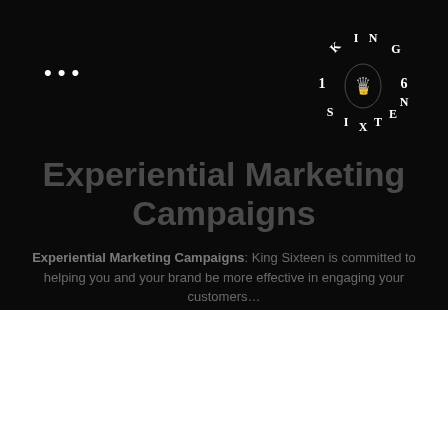[Figure (logo): King Sixteen circular logo with crown emblem and letters/numbers arranged in a circle on black background]
Experiential Marketing Campaigns
Experiential Marketing Campaigns: King Sixteen is committed to helping you and your brand be more effective in engaging your customers…
One of the core goals of any experiential marketing campaign is to foster a personal connection with customers. To do this, a campaign needs to come across as authentic and down-to-earth. The message must stay true to your core brand identity and highlight what it is that